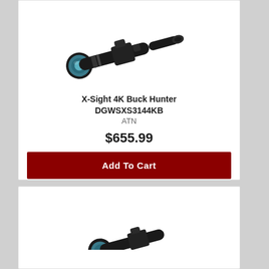[Figure (photo): Black rifle scope - X-Sight 4K Buck Hunter, shown at an angle with blue lens visible]
X-Sight 4K Buck Hunter
DGWSXS3144KB
ATN
$655.99
Add To Cart
[Figure (photo): Partial view of a second product scope at the bottom of the page]